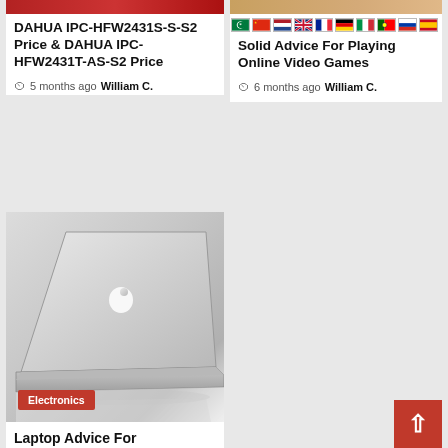[Figure (photo): Red-toned image strip at top of left article card]
[Figure (photo): Warm-toned image strip at top of right article card]
[Figure (infographic): Row of country flag emoji icons: Arabic, Chinese, Dutch, UK, French, German, Italian, Portuguese, Russian, Spanish]
DAHUA IPC-HFW2431S-S-S2 Price & DAHUA IPC-HFW2431T-AS-S2 Price
5 months ago   William C.
Solid Advice For Playing Online Video Games
6 months ago   William C.
[Figure (photo): MacBook Air laptop closed, silver, on white surface, viewed from rear-left angle]
Electronics
Laptop Advice For